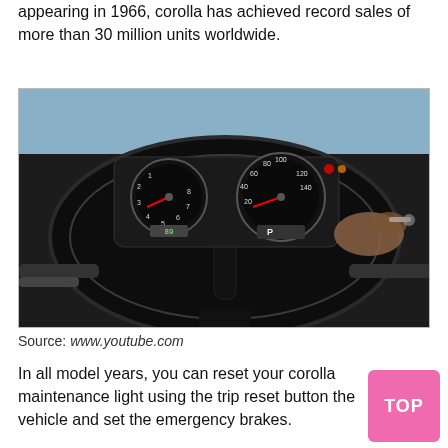appearing in 1966, corolla has achieved record sales of more than 30 million units worldwide.
[Figure (photo): Interior dashboard view of a Toyota Corolla showing steering wheel, instrument cluster with tachometer and speedometer gauges, and a hand holding keys. The gear selector shows P position.]
Source: www.youtube.com
In all model years, you can reset your corolla maintenance light using the trip reset button the vehicle and set the emergency brakes.